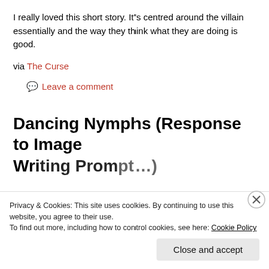I really loved this short story. It's centred around the villain essentially and the way they think what they are doing is good.
via The Curse
Leave a comment
Dancing Nymphs (Response to Image Writing Prompt #53)
Privacy & Cookies: This site uses cookies. By continuing to use this website, you agree to their use. To find out more, including how to control cookies, see here: Cookie Policy
Close and accept